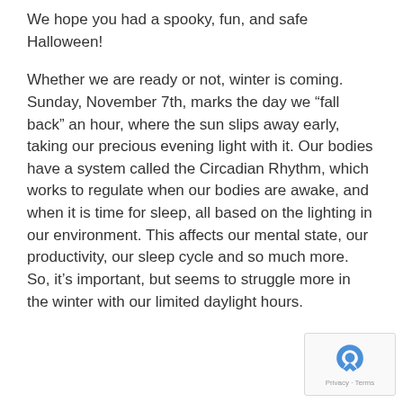We hope you had a spooky, fun, and safe Halloween!
Whether we are ready or not, winter is coming. Sunday, November 7th, marks the day we “fall back” an hour, where the sun slips away early, taking our precious evening light with it. Our bodies have a system called the Circadian Rhythm, which works to regulate when our bodies are awake, and when it is time for sleep, all based on the lighting in our environment. This affects our mental state, our productivity, our sleep cycle and so much more. So, it’s important, but seems to struggle more in the winter with our limited daylight hours.